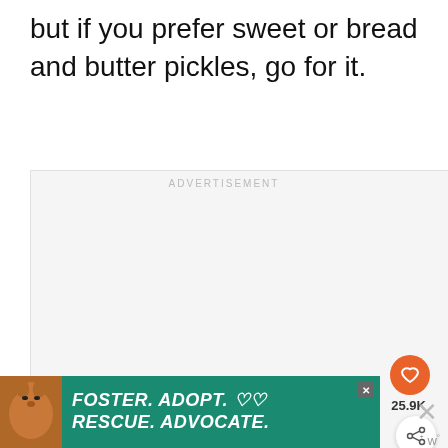but if you prefer sweet or bread and butter pickles, go for it.
[Figure (screenshot): Advertisement placeholder box with 'ADVERTISEMENT' label, three gray dots at bottom, a heart/like button (orange circle with heart icon), count label '25.9K', a share button (white circle with share icon), and a 'What's Next' panel showing 'The Juiciest Grilled...' with thumbnail.]
[Figure (screenshot): Bottom banner advertisement with teal/green background showing a dog image and text 'FOSTER. ADOPT. RESCUE. ADVOCATE.' with heart icons and close button. Adjacent right side shows an X button and 'w' superscript logo.]